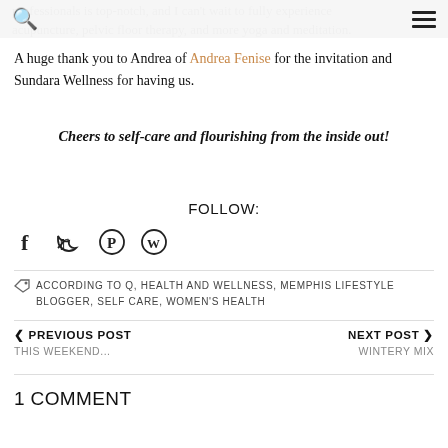🔍  ≡
professionals is top-notch, and I can't wait to fully experience acupuncture, pelvic floor therapy, and more yoga and meditation.
A huge thank you to Andrea of Andrea Fenise for the invitation and Sundara Wellness for having us.
Cheers to self-care and flourishing from the inside out!
FOLLOW:
[Figure (other): Social media icons: Facebook, Twitter, Pinterest, WordPress]
ACCORDING TO Q, HEALTH AND WELLNESS, MEMPHIS LIFESTYLE BLOGGER, SELF CARE, WOMEN'S HEALTH
◀ PREVIOUS POST
THIS WEEKEND...
NEXT POST ▶
WINTERY MIX
1 COMMENT